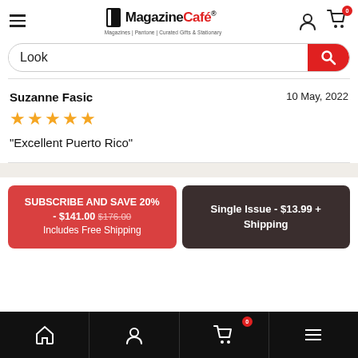[Figure (logo): Magazine Café logo with book icon and tagline 'Magazines | Pantone | Curated Gifts & Stationary']
Look
Suzanne Fasic
10 May, 2022
★★★★★
"Excellent Puerto Rico"
SUBSCRIBE AND SAVE 20% - $141.00 $176.00
Includes Free Shipping
Single Issue - $13.99 + Shipping
[Figure (screenshot): Bottom navigation bar with home, person, cart (badge 0), and menu icons]